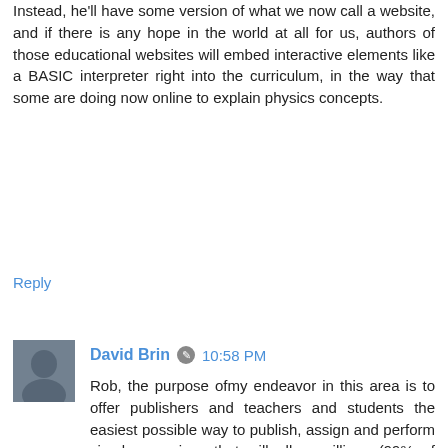Instead, he'll have some version of what we now call a website, and if there is any hope in the world at all for us, authors of those educational websites will embed interactive elements like a BASIC interpreter right into the curriculum, in the way that some are doing now online to explain physics concepts.
Reply
[Figure (photo): Avatar photo of David Brin, an older man]
David Brin ✎ 10:58 PM
Rob, the purpose ofmy endeavor in this area is to offer publishers and teachers and students the easiest possible way to publish, assign and perform simple exercises that will allow millions (99% of whom will never program again) to at least have a taste with minimum trauma.
Hence the number of lines of code is one of many factors. Simplicity of entry and use... plus the way that BASIC lines intuitively are similar to the algorithms they execute, are among the reasons that I like QuiteBASIC for this purpose, despite the fact that the language is obsolete for modern uses.